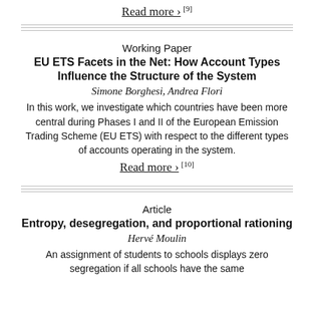Read more › [9]
Working Paper
EU ETS Facets in the Net: How Account Types Influence the Structure of the System
Simone Borghesi, Andrea Flori
In this work, we investigate which countries have been more central during Phases I and II of the European Emission Trading Scheme (EU ETS) with respect to the different types of accounts operating in the system.
Read more › [10]
Article
Entropy, desegregation, and proportional rationing
Hervé Moulin
An assignment of students to schools displays zero segregation if all schools have the same